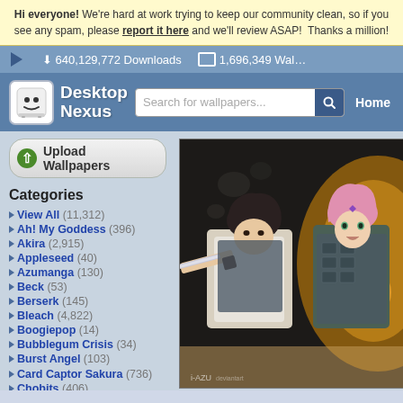Hi everyone! We're hard at work trying to keep our community clean, so if you see any spam, please report it here and we'll review ASAP! Thanks a million!
640,129,772 Downloads | 1,696,349 Wallpapers
Desktop Nexus
Search for wallpapers...
Home
Upload Wallpapers
Categories
View All (11,312)
Ah! My Goddess (396)
Akira (2,915)
Appleseed (40)
Azumanga (130)
Beck (53)
Berserk (145)
Bleach (4,822)
Boogiepop (14)
Bubblegum Crisis (34)
Burst Angel (103)
Card Captor Sakura (736)
Chobits (406)
Chrono Crusade (61)
[Figure (illustration): Anime illustration showing two characters: a dark-haired male character in white shirt wielding a sword, and a pink-haired female character in tactical vest. Naruto-style artwork with dramatic lighting. Watermark: i-AZU]